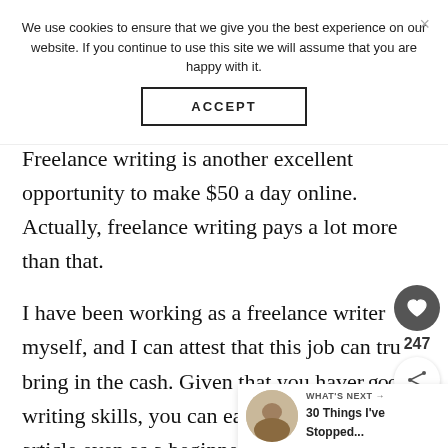We use cookies to ensure that we give you the best experience on our website. If you continue to use this site we will assume that you are happy with it.
ACCEPT
Freelance writing is another excellent opportunity to make $50 a day online. Actually, freelance writing pays a lot more than that.
I have been working as a freelance writer myself, and I can attest that this job can truly bring in the cash. Given that you have good writing skills, you can easily make $... per article even as a beginner. Some
247
WHAT'S NEXT → 30 Things I've Stopped...